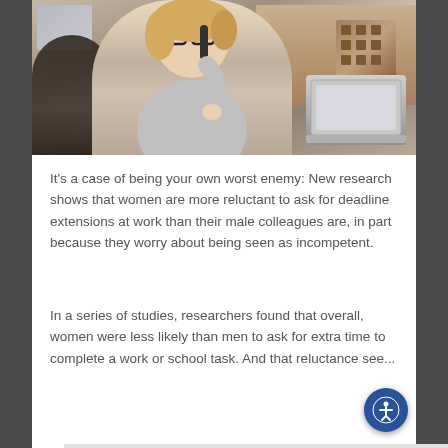[Figure (photo): A woman with glasses and blonde curly hair talking on a desk phone in an office setting. A laptop is visible in the background along with a male colleague.]
It's a case of being your own worst enemy: New research shows that women are more reluctant to ask for deadline extensions at work than their male colleagues are, in part because they worry about being seen as incompetent.
In a series of studies, researchers found that overall, women were less likely than men to ask for extra time to complete a work or school task. And that reluctance see...